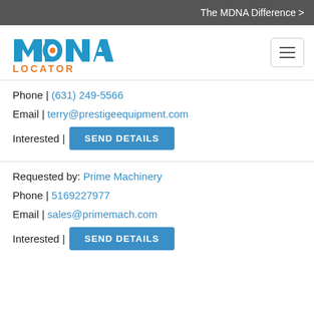The MDNA Difference >
[Figure (logo): MDNA Locator logo — blue stylized 'MDNA' text with orange 'LOCATOR' below]
Phone | (631) 249-5566
Email | terry@prestigeequipment.com
Interested | SEND DETAILS
Requested by: Prime Machinery
Phone | 5169227977
Email | sales@primemach.com
Interested | SEND DETAILS